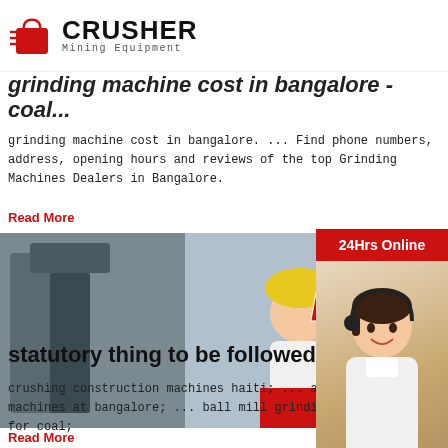CRUSHER Mining Equipment
grinding machine cost in bangalore - coa...
grinding machine cost in bangalore. ... Find phone numbers, address, opening hours and reviews of the top Grinding Machines Dealers in Bangalore.
Read More
[Figure (photo): Live chat banner with workers in hard hats, LIVE CHAT headline, Chat now and Chat later buttons]
statutory thing to be followed for...
crushing construction machines haiti; ... ambika machines at bangalore; ... ball mill grinding mac... for coal;
Read More
[Figure (photo): Bottom image showing industrial equipment against blue sky]
[Figure (infographic): Right sidebar with 24Hrs Online banner, customer service photo, Need questions & suggestion, Chat Now button, Enquiry, limingjlmofen@sina.com]